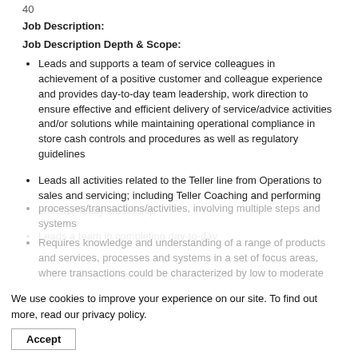40
Job Description:
Job Description Depth & Scope:
Leads and supports a team of service colleagues in achievement of a positive customer and colleague experience and provides day-to-day team leadership, work direction to ensure effective and efficient delivery of service/advice activities and/or solutions while maintaining operational compliance in store cash controls and procedures as well as regulatory guidelines
Leads all activities related to the Teller line from Operations to sales and servicing; including Teller Coaching and performing effective lobby leadership
Leads a team in completing day-to-day processes/transactions/activities, involving multiple steps and systems
Requires knowledge and understanding of a range of products and services, processes and systems in a set of focus areas, where transactions could be characterized by low to moderate
We use cookies to improve your experience on our site. To find out more, read our privacy policy.